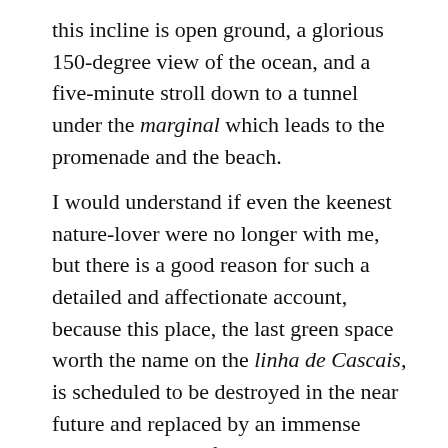this incline is open ground, a glorious 150-degree view of the ocean, and a five-minute stroll down to a tunnel under the marginal which leads to the promenade and the beach.
I would understand if even the keenest nature-lover were no longer with me, but there is a good reason for such a detailed and affectionate account, because this place, the last green space worth the name on the linha de Cascais, is scheduled to be destroyed in the near future and replaced by an immense urbanised estate of large residential blocks, with the blessing of the private school housed at the quinta's heart. Needless to say, few locals will be able to afford to live in one of these blocks. The